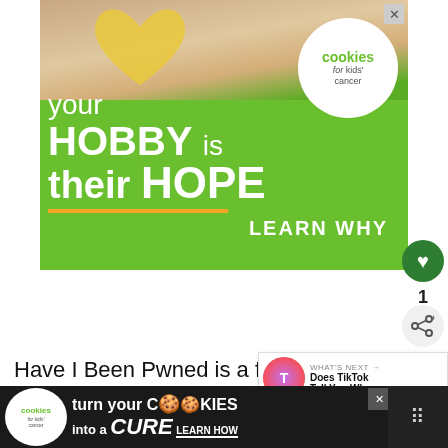[Figure (photo): Advertisement banner for 'Cookies for Kids' Cancer' charity. Green background with photo of hands holding a heart-shaped cookie on top. White text reads 'your HOBBY is their HOPE' with 'LEARN WHY' below an orange bar. White circle with 'cookies for kids cancer' logo on upper right.]
Have I Been Pwned is a free tool that allows you to input your email, phone number or password to see if its been involved in any d...
[Figure (photo): Bottom advertisement banner for 'Cookies for Kids' Cancer': 'turn your COOKIES into a CURE LEARN HOW' on dark background.]